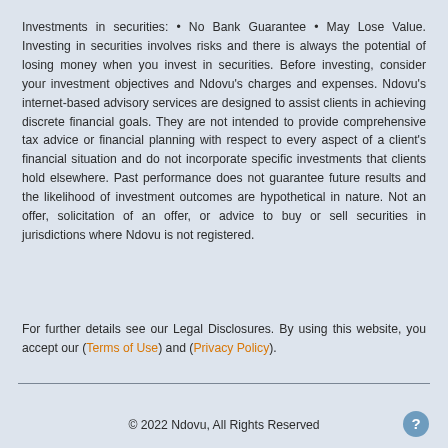Investments in securities: • No Bank Guarantee • May Lose Value. Investing in securities involves risks and there is always the potential of losing money when you invest in securities. Before investing, consider your investment objectives and Ndovu's charges and expenses. Ndovu's internet-based advisory services are designed to assist clients in achieving discrete financial goals. They are not intended to provide comprehensive tax advice or financial planning with respect to every aspect of a client's financial situation and do not incorporate specific investments that clients hold elsewhere. Past performance does not guarantee future results and the likelihood of investment outcomes are hypothetical in nature. Not an offer, solicitation of an offer, or advice to buy or sell securities in jurisdictions where Ndovu is not registered.
For further details see our Legal Disclosures. By using this website, you accept our (Terms of Use) and (Privacy Policy).
© 2022 Ndovu, All Rights Reserved